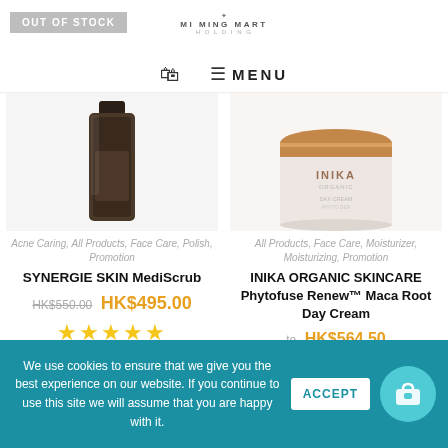[Figure (screenshot): E-commerce website header with OUT OF STOCK badge on left, Mi Ming Mart logo in center, and navigation bar with bag icon and MENU text]
[Figure (photo): Dark brown bottle product image for Synergie Skin MediScrub]
Acne Caring, All Products, Face Care, Polish, Promotion
SYNERGIE SKIN MediScrub
HK$550.00 HK$495.00
[Figure (photo): INIKA Organic cream jar with copper/gold lid]
All Products, Face Care, Moisturizer, Moisturizing, Promotion
INIKA ORGANIC SKINCARE Phytofuse Renew™ Maca Root Day Cream
HK$564.50
We use cookies to ensure that we give you the best experience on our website. If you continue to use this site we will assume that you are happy with it.
ACCEPT